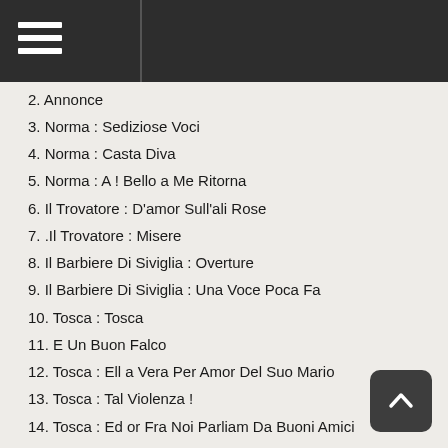Menu header bar
2. Annonce
3. Norma : Sediziose Voci
4. Norma : Casta Diva
5. Norma : A ! Bello a Me Ritorna
6. Il Trovatore : D'amor Sull'ali Rose
7. .Il Trovatore : Misere
8. Il Barbiere Di Siviglia : Overture
9. Il Barbiere Di Siviglia : Una Voce Poca Fa
10. Tosca : Tosca
11. E Un Buon Falco
12. Tosca : Ell a Vera Per Amor Del Suo Mario
13. Tosca : Tal Violenza !
14. Tosca : Ed or Fra Noi Parliam Da Buoni Amici
15. Tosca : Orsu
16. Tosca
17. Parlate
18. Tosca : Floria ! Amore !
19. Tosca : La Povera Mia Cena Fu Interrota
20. Tosca : GiÀ
21. Mi Dicon Venal